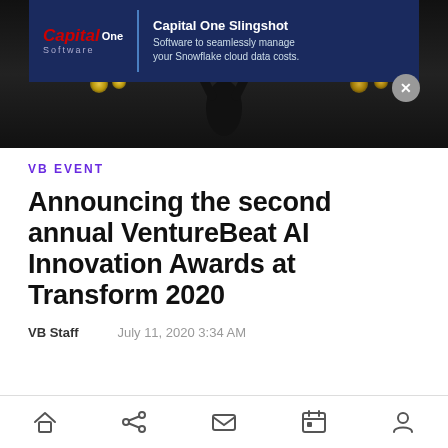[Figure (screenshot): Capital One Slingshot advertisement banner over a dark hero image showing a silhouetted person with arms raised on a stage]
VB EVENT
Announcing the second annual VentureBeat AI Innovation Awards at Transform 2020
VB Staff   July 11, 2020 3:34 AM
[Figure (illustration): Bottom navigation bar with home, share, email, calendar, and profile icons]